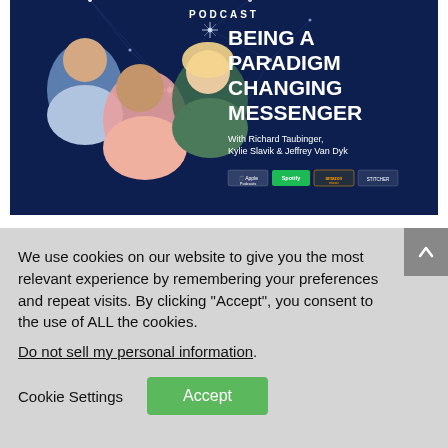[Figure (photo): Podcast cover image for 'Being a Paradigm Changing Messenger' featuring three hosts (two men and one woman) against a dark blue geometric network background. Text overlay shows 'PODCAST', episode title 'BEING A PARADIGM CHANGING MESSENGER', host names 'With Richard Taubinger, Kylie Slavik & Jeffrey Van Dyk', and streaming platform badges for Apple Podcasts, Spotify, Amazon Music, and another service.]
Episode 48: Being a
We use cookies on our website to give you the most relevant experience by remembering your preferences and repeat visits. By clicking “Accept”, you consent to the use of ALL the cookies.
Do not sell my personal information.
Cookie Settings
Accept